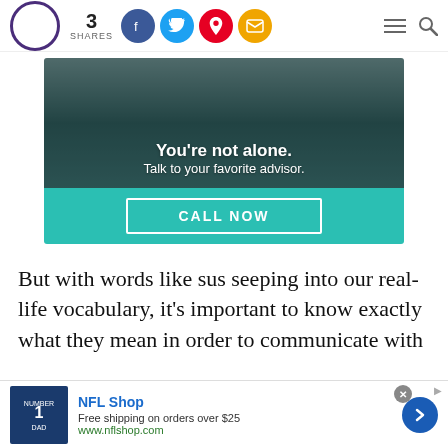3 SHARES — social share buttons, navigation icons
[Figure (infographic): Advertisement banner: 'You're not alone. Talk to your favorite advisor.' with a teal background and a CALL NOW button]
But with words like sus seeping into our real-life vocabulary, it's important to know exactly what they mean in order to communicate with
[Figure (infographic): NFL Shop advertisement: Free shipping on orders over $25, www.nflshop.com]